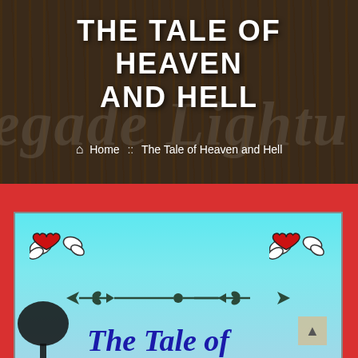THE TALE OF HEAVEN AND HELL
🏠 Home :: The Tale of Heaven and Hell
[Figure (illustration): Book cover illustration with cyan sky background, two flying heart with wings stickers (left and right), a decorative arrow divider in the center, dark tree silhouette at bottom left, and stylized italic blue text reading 'The Tale of' at the bottom]